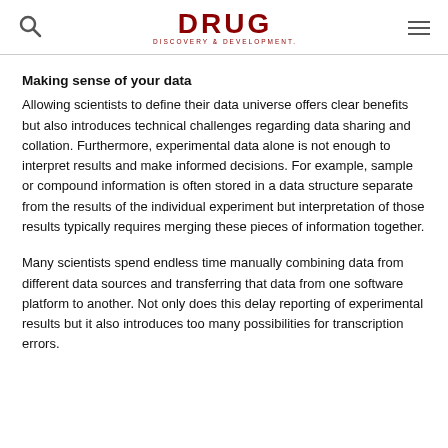DRUG DISCOVERY & DEVELOPMENT
Making sense of your data
Allowing scientists to define their data universe offers clear benefits but also introduces technical challenges regarding data sharing and collation. Furthermore, experimental data alone is not enough to interpret results and make informed decisions. For example, sample or compound information is often stored in a data structure separate from the results of the individual experiment but interpretation of those results typically requires merging these pieces of information together.
Many scientists spend endless time manually combining data from different data sources and transferring that data from one software platform to another. Not only does this delay reporting of experimental results but it also introduces too many possibilities for transcription errors.